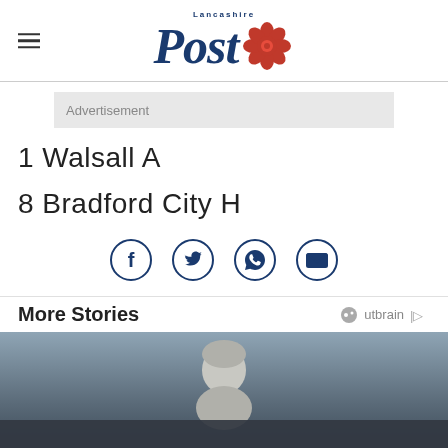Lancashire Post
Advertisement
1 Walsall A
8 Bradford City H
[Figure (other): Social sharing icons: Facebook, Twitter, WhatsApp, Email]
More Stories
[Figure (photo): Partial photo of a grey-haired man against a blue-grey background, partially obscured by a dark overlay bar at the bottom.]